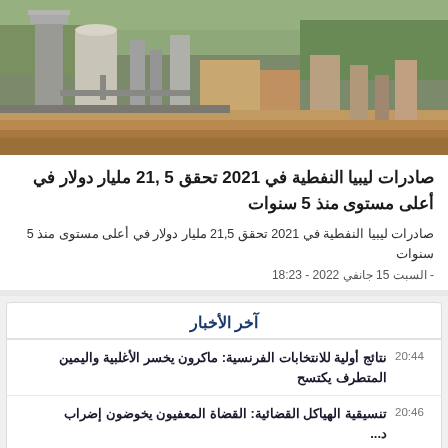[Figure (photo): Industrial oil refinery or factory with large towers and structures, outdoor daytime photo with trees and dirt ground in background]
صادرات ليبيا النفطية في 2021 تحقق 5 ,21 مليار دولار في أعلى مستوى منذ 5 سنوات
صادرات ليبيا النفطية في 2021 تحقق 21,5 مليار دولار في أعلى مستوى منذ 5 سنوات
- السبت 15 جانفي 2022 - 18:23
آخر الأخبار
20:44  نتائج أولية للانتخابات الفرنسية: ماكرون يخسر الأغلبية واليمين المتطرف يكتسح
20:46  تنسيقية الهياكل القضائية: القضاة المعفيون يخوضون إضراب د...